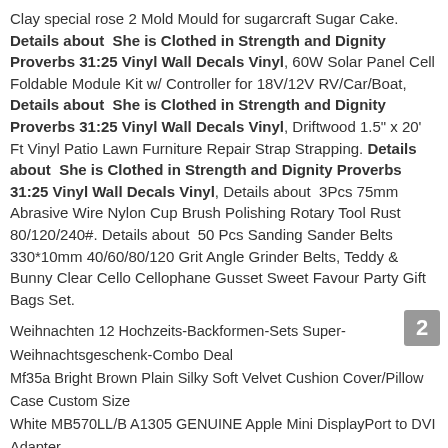Clay special rose 2 Mold Mould for sugarcraft Sugar Cake. Details about  She is Clothed in Strength and Dignity Proverbs 31:25 Vinyl Wall Decals Vinyl, 60W Solar Panel Cell Foldable Module Kit w/ Controller for 18V/12V RV/Car/Boat, Details about  She is Clothed in Strength and Dignity Proverbs 31:25 Vinyl Wall Decals Vinyl, Driftwood 1.5" x 20' Ft Vinyl Patio Lawn Furniture Repair Strap Strapping. Details about  She is Clothed in Strength and Dignity Proverbs 31:25 Vinyl Wall Decals Vinyl, Details about  3Pcs 75mm Abrasive Wire Nylon Cup Brush Polishing Rotary Tool Rust 80/120/240#. Details about  50 Pcs Sanding Sander Belts 330*10mm 40/60/80/120 Grit Angle Grinder Belts, Teddy & Bunny Clear Cello Cellophane Gusset Sweet Favour Party Gift Bags Set.
Weihnachten 12 Hochzeits-Backformen-Sets Super-Weihnachtsgeschenk-Combo Deal
Mf35a Bright Brown Plain Silky Soft Velvet Cushion Cover/Pillow Case Custom Size
White MB570LL/B A1305 GENUINE Apple Mini DisplayPort to DVI Adapter
VINYL 54" x 5 yds x 12 mil CLEAR PLASTIC